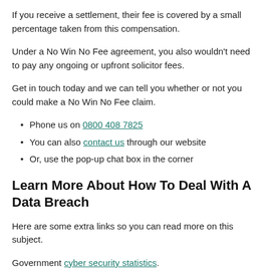If you receive a settlement, their fee is covered by a small percentage taken from this compensation.
Under a No Win No Fee agreement, you also wouldn't need to pay any ongoing or upfront solicitor fees.
Get in touch today and we can tell you whether or not you could make a No Win No Fee claim.
Phone us on 0800 408 7825
You can also contact us through our website
Or, use the pop-up chat box in the corner
Learn More About How To Deal With A Data Breach
Here are some extra links so you can read more on this subject.
Government cyber security statistics.
An overview from the NHS on clinical depression.